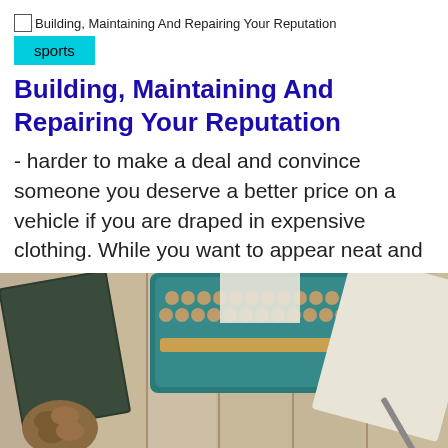[Figure (other): Broken image placeholder with alt text: Building, Maintaining And Repairing Your Reputation]
sports
Building, Maintaining And Repairing Your Reputation
- harder to make a deal and convince someone you deserve a better price on a vehicle if you are draped in expensive clothing. While you want to appear neat and ct
[Figure (photo): Photo of a typewriter, notebook, pine cone, and paper on a wooden table surface]